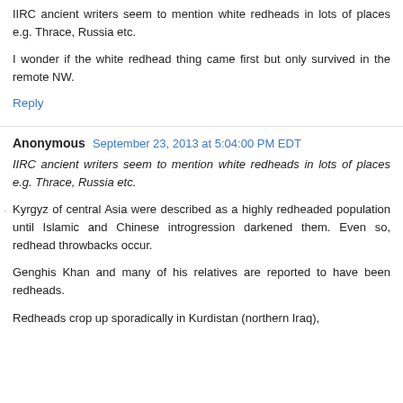IIRC ancient writers seem to mention white redheads in lots of places e.g. Thrace, Russia etc.
I wonder if the white redhead thing came first but only survived in the remote NW.
Reply
Anonymous  September 23, 2013 at 5:04:00 PM EDT
IIRC ancient writers seem to mention white redheads in lots of places e.g. Thrace, Russia etc.
Kyrgyz of central Asia were described as a highly redheaded population until Islamic and Chinese introgression darkened them. Even so, redhead throwbacks occur.
Genghis Khan and many of his relatives are reported to have been redheads.
Redheads crop up sporadically in Kurdistan (northern Iraq),